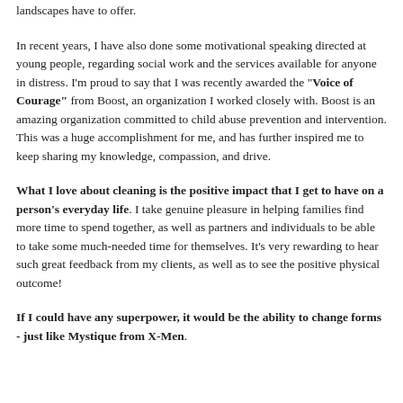landscapes have to offer.
In recent years, I have also done some motivational speaking directed at young people, regarding social work and the services available for anyone in distress. I'm proud to say that I was recently awarded the "Voice of Courage" from Boost, an organization I worked closely with. Boost is an amazing organization committed to child abuse prevention and intervention. This was a huge accomplishment for me, and has further inspired me to keep sharing my knowledge, compassion, and drive.
What I love about cleaning is the positive impact that I get to have on a person's everyday life. I take genuine pleasure in helping families find more time to spend together, as well as partners and individuals to be able to take some much-needed time for themselves. It's very rewarding to hear such great feedback from my clients, as well as to see the positive physical outcome!
If I could have any superpower, it would be the ability to change forms - just like Mystique from X-Men.